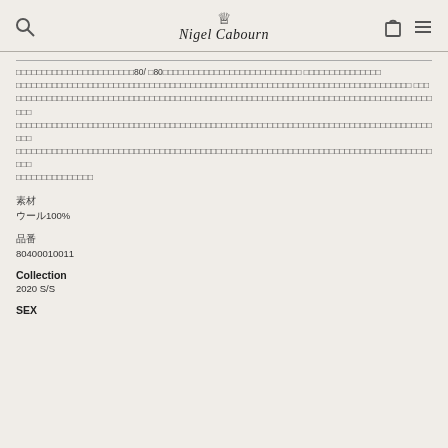Nigel Cabourn
80/ 80
素材
ウール100%
品番
80400010011
Collection
2020 S/S
SEX